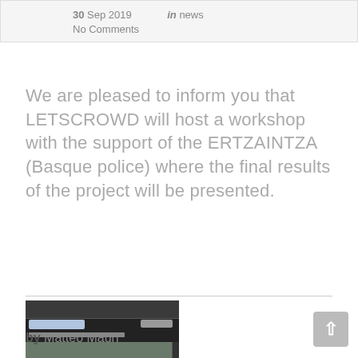30 Sep 2019  in news  No Comments
We are pleased to inform you that LETSCROWD will host a workshop with the support of the ERTZAINTZA (Basque police) where the final results of the project will be presented.
[Figure (screenshot): Screenshot of the LETSCROWD web application showing a crowd image with a green button and caption text about an individual suspect.]
by Matteo Mauri